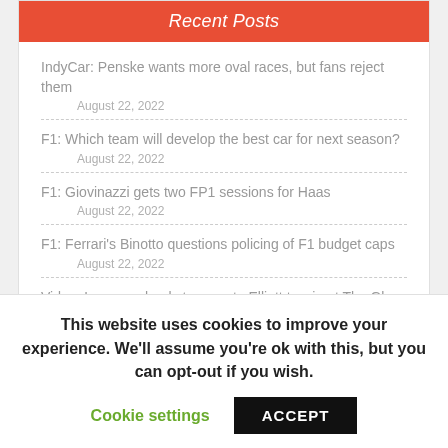Recent Posts
IndyCar: Penske wants more oval races, but fans reject them
August 22, 2022
F1: Which team will develop the best car for next season?
August 22, 2022
F1: Giovinazzi gets two FP1 sessions for Haas
August 22, 2022
F1: Ferrari's Binotto questions policing of F1 budget caps
August 22, 2022
Video: Larson schools teammate Elliott to win at The Glen
This website uses cookies to improve your experience. We'll assume you're ok with this, but you can opt-out if you wish.
Cookie settings  ACCEPT